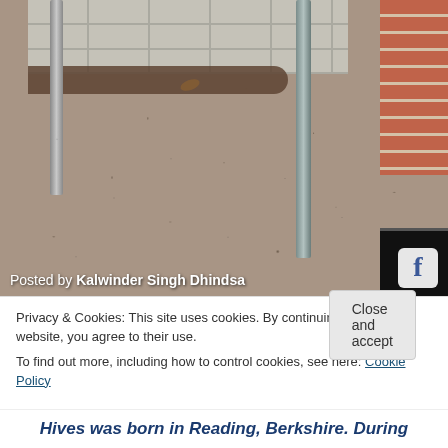[Figure (photo): Outdoor photograph showing a gravel/asphalt ground surface near a concrete block wall with metal poles and red brick wall section at the right. Debris and dirt at the base of the wall.]
Posted by Kalwinder Singh Dhindsa
Privacy & Cookies: This site uses cookies. By continuing to use this website, you agree to their use. To find out more, including how to control cookies, see here: Cookie Policy
Close and accept
Hives was born in Reading, Berkshire. During